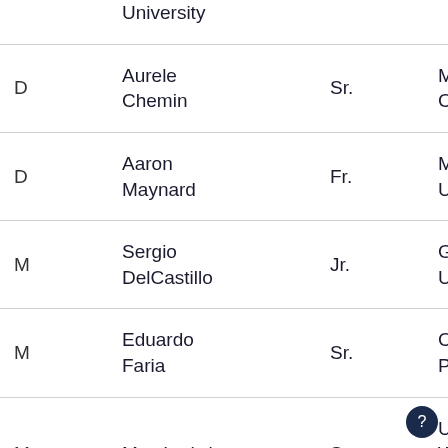| Pos | Name | Yr. | School | Hometown |
| --- | --- | --- | --- | --- |
|  | University |  |  |  |
| D | Aurele Chemin | Sr. | Mississippi College | Paris, Fra... |
| D | Aaron Maynard | Fr. | Millersville University | Chambers..., Pa. |
| M | Sergio DelCastillo | Jr. | Gannon University | Madrid, Sp... |
| M | Eduardo Faria | Sr. | Cal Poly Pomona | Porto Aleg..., Brazil |
| M | Max Ludwig | Sr. | University of Wisconsin-Parkside | Stuttgart, Germ... |